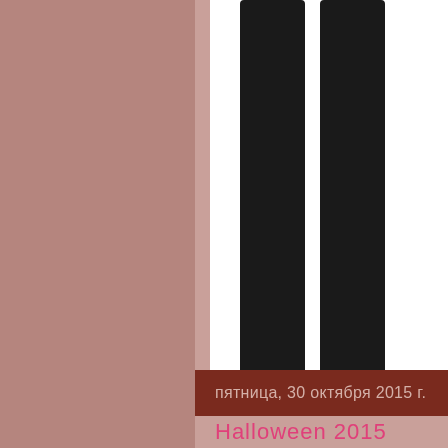[Figure (illustration): Partial illustration of a person wearing black pants/leggings and a sneaker/athletic shoe with yellow-green sole, shown from roughly mid-shin down, against a white background panel on the right side of the page]
пятница, 30 октября 2015 г.
Halloween 2015